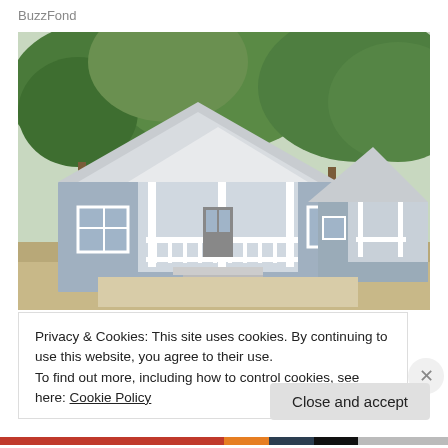BuzzFond
[Figure (photo): Two light blue/grey cottage-style homes with white trim and covered front porches, surrounded by large trees, with a concrete driveway in front.]
Privacy & Cookies: This site uses cookies. By continuing to use this website, you agree to their use.
To find out more, including how to control cookies, see here: Cookie Policy